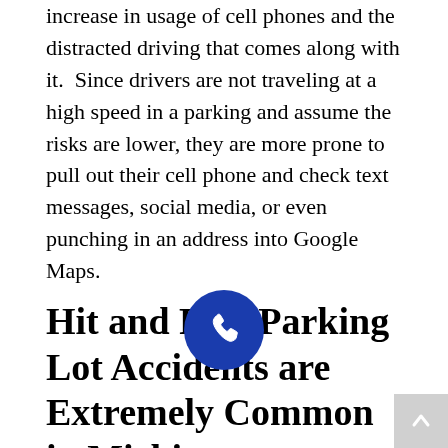increase in usage of cell phones and the distracted driving that comes along with it. Since drivers are not traveling at a high speed in a parking and assume the risks are lower, they are more prone to pull out their cell phone and check text messages, social media, or even punching in an address into Google Maps.
Hit and Run Parking Lot Accidents are Extremely Common in Michigan
Nobody wants this to happen to their vehicle, but the unfortunate truth is that a hit and run accident in a parking lot is much more common than in any other type of vehicle accident. You get to your car and notice that there is damage from another